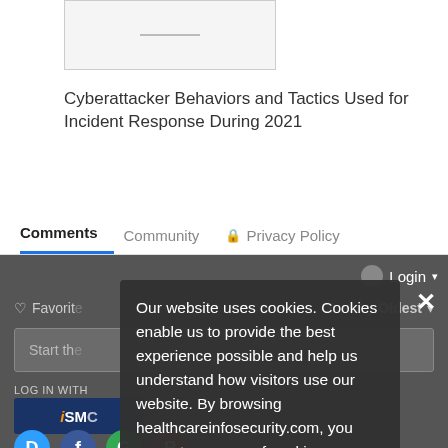[Figure (illustration): Article thumbnail image placeholder with a small horizontal line in the center]
Cyberattacker Behaviors and Tactics Used for Incident Response During 2021
Comments
Community
Privacy Policy
Login
Favorites
Sort by Oldest
Start the...
LOG IN WITH
iSMC
Our website uses cookies. Cookies enable us to provide the best experience possible and help us understand how visitors use our website. By browsing healthcareinfosecurity.com, you agree to our use of cookies.